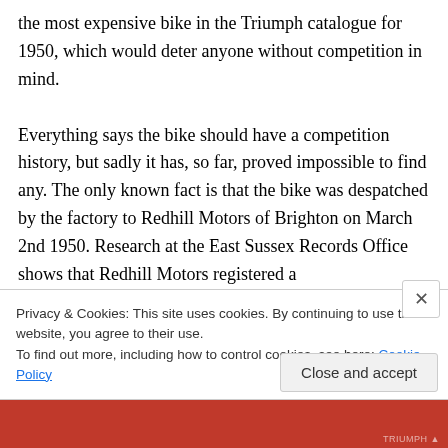the most expensive bike in the Triumph catalogue for 1950, which would deter anyone without competition in mind.

Everything says the bike should have a competition history, but sadly it has, so far, proved impossible to find any. The only known fact is that the bike was despatched by the factory to Redhill Motors of Brighton on March 2nd 1950. Research at the East Sussex Records Office shows that Redhill Motors registered a
Privacy & Cookies: This site uses cookies. By continuing to use this website, you agree to their use.
To find out more, including how to control cookies, see here: Cookie Policy